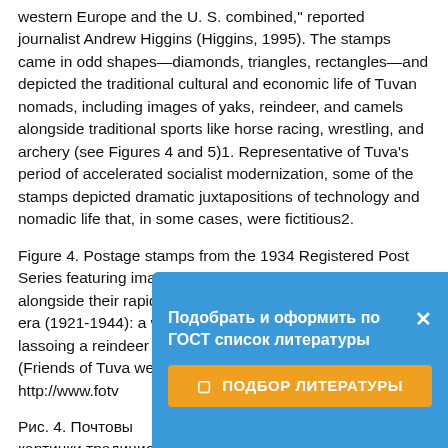western Europe and the U. S. combined," reported journalist Andrew Higgins (Higgins, 1995). The stamps came in odd shapes—diamonds, triangles, rectangles—and depicted the traditional cultural and economic life of Tuvan nomads, including images of yaks, reindeer, and camels alongside traditional sports like horse racing, wrestling, and archery (see Figures 4 and 5)1. Representative of Tuva's period of accelerated socialist modernization, some of the stamps depicted dramatic juxtapositions of technology and nomadic life that, in some cases, were fictitious2.
Figure 4. Postage stamps from the 1934 Registered Post Series featuring images of traditional economic activities alongside their rapid modernization during the Tannu Tuva era (1921-1944): a woman milking a yak (5 kopeks), a map lassoing a reindeer (15 kopeks), and a man driving a tractor (Friends of Tuva website at http://www.fotv...
Рис. 4. Почтовые... картинки традиционной хозяйственной деятельности тувинцев в Танну-Туva наряду с
[Figure (other): Blue overlay popup with text 'Подобрать и оформить по ГОСТ список литературы' and a close X button, plus an orange button labeled '☐ ПОДБОР ЛИТЕРАТУРЫ']